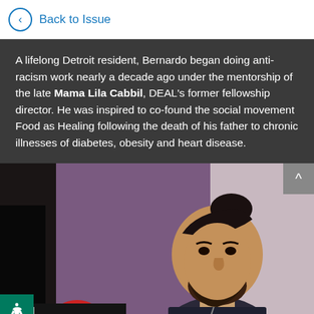Back to Issue
A lifelong Detroit resident, Bernardo began doing anti-racism work nearly a decade ago under the mentorship of the late Mama Lila Cabbil, DEAL's former fellowship director. He was inspired to co-found the social movement Food as Healing following the death of his father to chronic illnesses of diabetes, obesity and heart disease.
[Figure (photo): Photo of a man with a bun hairstyle and beard, speaking or presenting, wearing a dark patterned shirt, with a purple/mauve background]